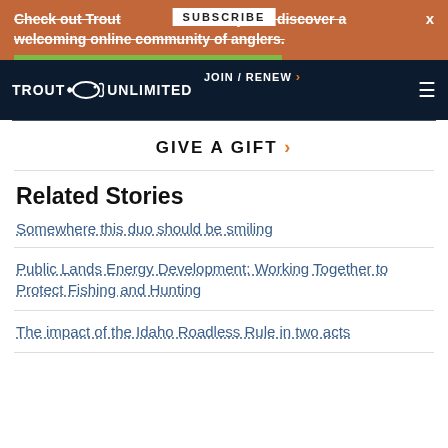Check out Trout Unlimited today and discover a welcoming online community of anglers.
SUBSCRIBE
X
JOIN / RENEW > TROUT UNLIMITED
GIVE A GIFT >
Related Stories
Somewhere this duo should be smiling
Public Lands Energy Development: Working Together to Protect Fishing and Hunting
The impact of the Idaho Roadless Rule in two acts